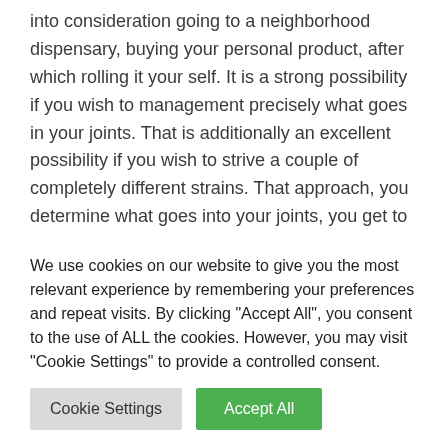into consideration going to a neighborhood dispensary, buying your personal product, after which rolling it your self. It is a strong possibility if you wish to management precisely what goes in your joints. That is additionally an excellent possibility if you wish to strive a couple of completely different strains. That approach, you determine what goes into your joints, you get to expertise completely different varieties, and you're in complete management of your dosage. Smoking marijuana is a basic possibility and also you
We use cookies on our website to give you the most relevant experience by remembering your preferences and repeat visits. By clicking "Accept All", you consent to the use of ALL the cookies. However, you may visit "Cookie Settings" to provide a controlled consent.